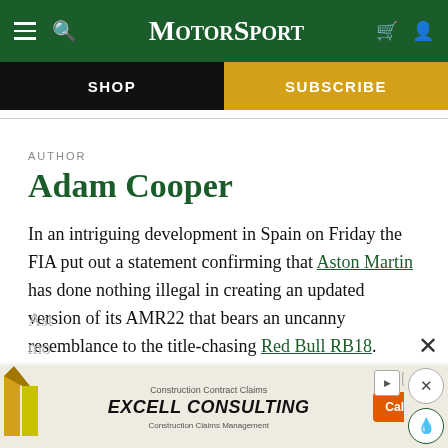MotorSport — navigation bar with hamburger, search, logo, bag, user icons
SHOP | SUBSCRIBE
AUTHOR
Adam Cooper
In an intriguing development in Spain on Friday the FIA put out a statement confirming that Aston Martin has done nothing illegal in creating an updated version of its AMR22 that bears an uncanny resemblance to the title-chasing Red Bull RB18.
The similarity was immediately obvious when the
[Figure (screenshot): Advertisement banner for Excell Consulting — Construction Contract Claims with Call Us! button]